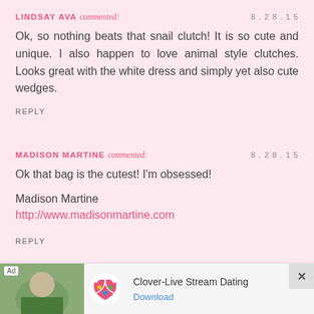LINDSAY AVA commented: 8.28.15
Ok, so nothing beats that snail clutch! It is so cute and unique. I also happen to love animal style clutches. Looks great with the white dress and simply yet also cute wedges.
REPLY
MADISON MARTINE commented: 8.28.15
Ok that bag is the cutest! I'm obsessed!
Madison Martine
http://www.madisonmartine.com
REPLY
ERIN @ HER HEARTLAND SOUL commented: 8.28.1
[Figure (screenshot): Ad banner for Clover-Live Stream Dating app with Download button]